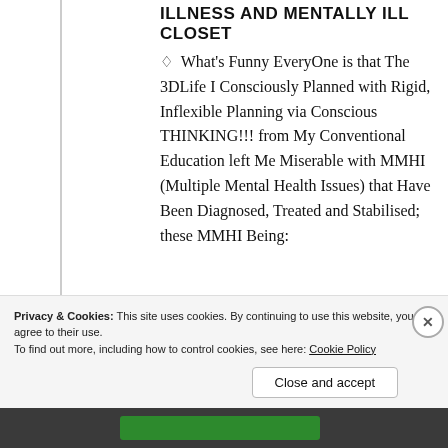ILLNESS AND MENTALLY ILL CLOSET
♢ What's Funny EveryOne is that The 3DLife I Consciously Planned with Rigid, Inflexible Planning via Conscious THINKING!!! from My Conventional Education left Me Miserable with MMHI (Multiple Mental Health Issues) that Have Been Diagnosed, Treated and Stabilised; these MMHI Being:
♢ Anti-Social DisOrder
♢ Anxiety
Privacy & Cookies: This site uses cookies. By continuing to use this website, you agree to their use. To find out more, including how to control cookies, see here: Cookie Policy
Close and accept